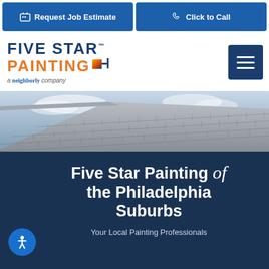Request Job Estimate | Click to Call
[Figure (logo): Five Star Painting logo with tagline 'a neighborly company' and hamburger menu icon]
[Figure (photo): Roof shingles photo with cloudy sky background, angled rooftop]
Five Star Painting of the Philadelphia Suburbs
Your Local Painting Professionals